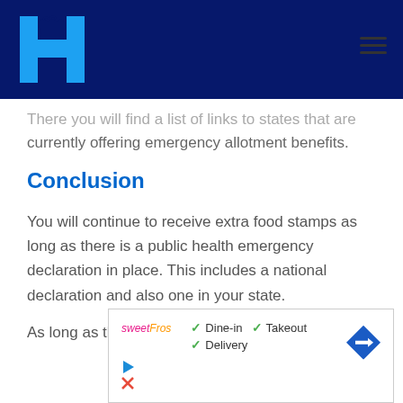Helping Hand (H logo) navigation header
There you will find a list of links to states that are currently offering emergency allotment benefits.
Conclusion
You will continue to receive extra food stamps as long as there is a public health emergency declaration in place. This includes a national declaration and also one in your state.
As long as these two conditions are met, you will
[Figure (other): Advertisement for SweetFros restaurant showing checkmarks for Dine-in, Takeout, and Delivery options with a turn navigation arrow icon]